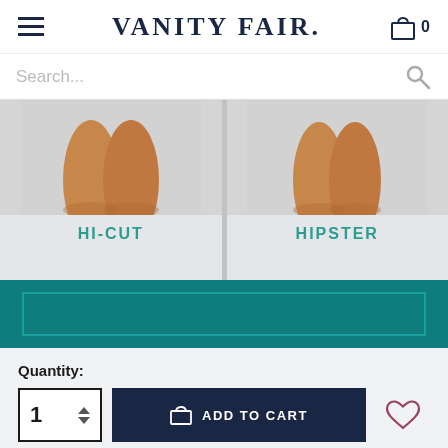VANITY FAIR.
Search...
[Figure (photo): Two product images side by side showing legs in underwear. Left labeled HI-CUT, right labeled HIPSTER.]
HI-CUT
HIPSTER
Quantity:
1
ADD TO CART